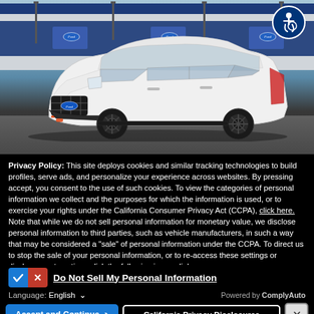[Figure (photo): White Ford Explorer SUV parked in front of a Ford dealership/factory building with blue and white facade. Accessibility icon (person in wheelchair) visible in top-right corner.]
Privacy Policy: This site deploys cookies and similar tracking technologies to build profiles, serve ads, and personalize your experience across websites. By pressing accept, you consent to the use of such cookies. To view the categories of personal information we collect and the purposes for which the information is used, or to exercise your rights under the California Consumer Privacy Act (CCPA), click here. Note that while we do not sell personal information for monetary value, we disclose personal information to third parties, such as vehicle manufacturers, in such a way that may be considered a "sale" of personal information under the CCPA. To direct us to stop the sale of your personal information, or to re-access these settings or disclosures at anytime, click the following icon or link:
Do Not Sell My Personal Information
Language: English ∨   Powered by ComplyAuto